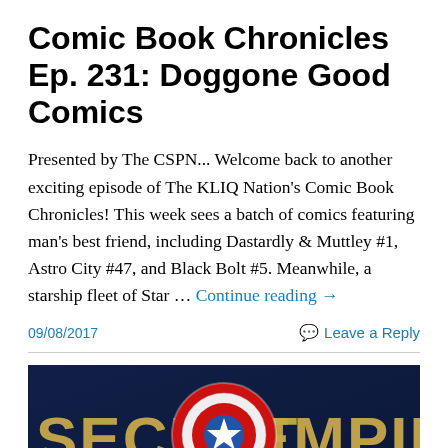Comic Book Chronicles Ep. 231: Doggone Good Comics
Presented by The CSPN... Welcome back to another exciting episode of The KLIQ Nation's Comic Book Chronicles! This week sees a batch of comics featuring man's best friend, including Dastardly & Muttley #1, Astro City #47, and Black Bolt #5. Meanwhile, a starship fleet of Star … Continue reading →
09/08/2017
Leave a Reply
[Figure (photo): Secret Empire #10 comic book cover with Marvel logo, Captain America shield, and partial title text on dark navy background]